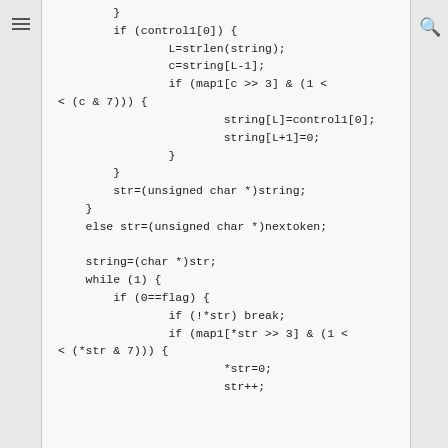[Figure (screenshot): Code viewer screenshot showing C code with left hamburger menu icon and right search icon sidebars. The code shows a fragment with if/else blocks, string manipulation, and a while loop.]